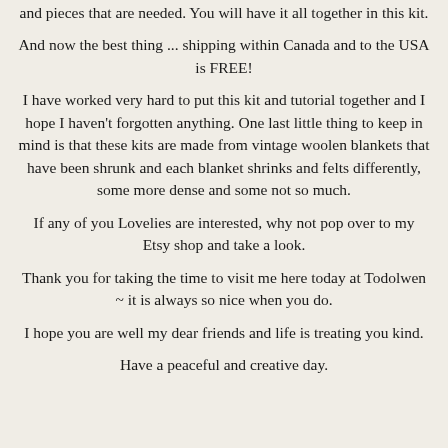and pieces that are needed. You will have it all together in this kit.
And now the best thing ... shipping within Canada and to the USA is FREE!
I have worked very hard to put this kit and tutorial together and I hope I haven't forgotten anything. One last little thing to keep in mind is that these kits are made from vintage woolen blankets that have been shrunk and each blanket shrinks and felts differently, some more dense and some not so much.
If any of you Lovelies are interested, why not pop over to my Etsy shop and take a look.
Thank you for taking the time to visit me here today at Todolwen ~ it is always so nice when you do.
I hope you are well my dear friends and life is treating you kind.
Have a peaceful and creative day.